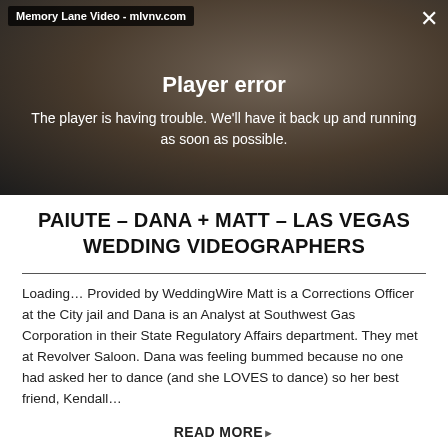[Figure (screenshot): Video player showing a couple dancing/embracing at a wedding, overlaid with a dark semi-transparent error message. Top-left shows label 'Memory Lane Video - mlvnv.com', top-right has an X close button. Center shows 'Player error' in bold white text and below it 'The player is having trouble. We'll have it back up and running as soon as possible.' in white text.]
PAIUTE – DANA + MATT – LAS VEGAS WEDDING VIDEOGRAPHERS
Loading… Provided by WeddingWire Matt is a Corrections Officer at the City jail and Dana is an Analyst at Southwest Gas Corporation in their State Regulatory Affairs department. They met at Revolver Saloon. Dana was feeling bummed because no one had asked her to dance (and she LOVES to dance) so her best friend, Kendall…
READ MORE ▸
1 2 Next